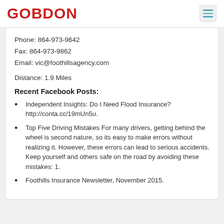GOBDON
Phone: 864-973-9642
Fax: 864-973-9862
Email: vic@foothillsagency.com
Distance: 1.9 Miles
Recent Facebook Posts:
Independent Insights: Do I Need Flood Insurance? http://conta.cc/19mUn5u.
Top Five Driving Mistakes For many drivers, getting behind the wheel is second nature, so its easy to make errors without realizing it. However, these errors can lead to serious accidents. Keep yourself and others safe on the road by avoiding these mistakes: 1.
Foothills Insurance Newsletter, November 2015.